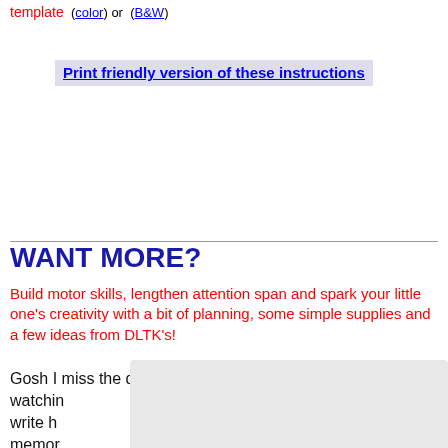template  (color) or  (B&W)
Print friendly version of these instructions
WANT MORE?
Build motor skills, lengthen attention span and spark your little one's creativity with a bit of planning, some simple supplies and a few ideas from DLTK's!
Gosh I miss the days when I got to spend hours watching... sha write h... ose memor...